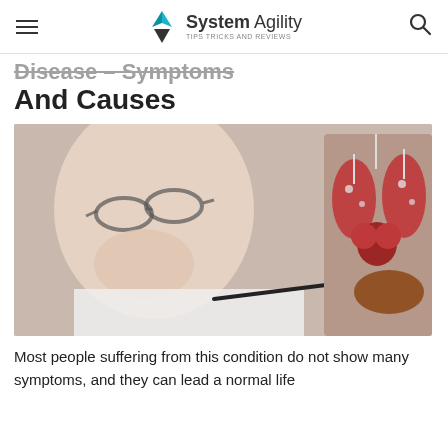System Agility — Tips Tricks and Reviews
Disease – Symptoms And Causes
[Figure (photo): A doctor in a white coat and glasses pointing a pen at a detailed anatomical model showing internal organs including lungs, heart, and liver.]
Most people suffering from this condition do not show many symptoms, and they can lead a normal life